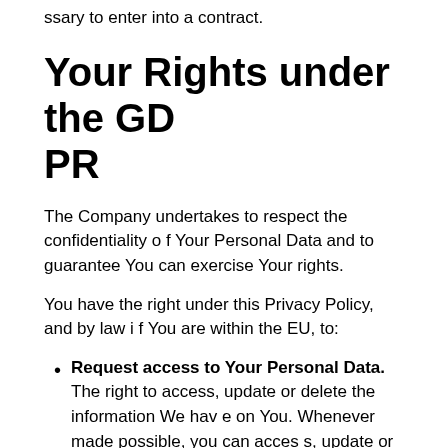ssary to enter into a contract.
Your Rights under the GDPR
The Company undertakes to respect the confidentiality of Your Personal Data and to guarantee You can exercise Your rights.
You have the right under this Privacy Policy, and by law if You are within the EU, to:
Request access to Your Personal Data. The right to access, update or delete the information We have on You. Whenever made possible, you can access, update or request deletion of Your Personal Data